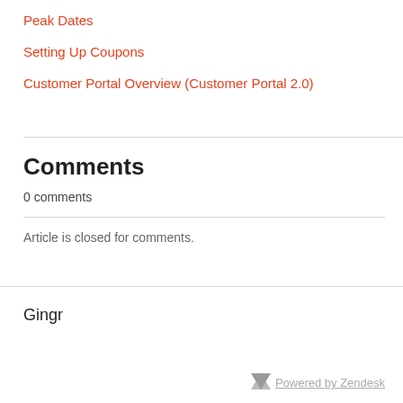Peak Dates
Setting Up Coupons
Customer Portal Overview (Customer Portal 2.0)
Comments
0 comments
Article is closed for comments.
Gingr
Powered by Zendesk